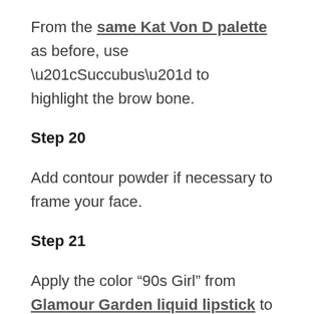From the same Kat Von D palette as before, use “Succubus” to highlight the brow bone.
Step 20
Add contour powder if necessary to frame your face.
Step 21
Apply the color “90s Girl” from Glamour Garden liquid lipstick to